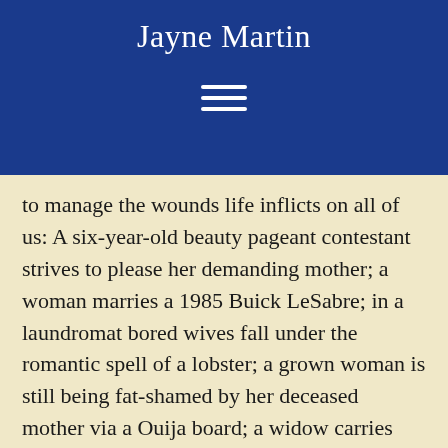Jayne Martin
to manage the wounds life inflicts on all of us: A six-year-old beauty pageant contestant strives to please her demanding mother; a woman marries a 1985 Buick LeSabre; in a laundromat bored wives fall under the romantic spell of a lobster; a grown woman is still being fat-shamed by her deceased mother via a Ouija board; a widow carries her husband’s ashes around in Baggies.
With pathos and humor, these and all of the